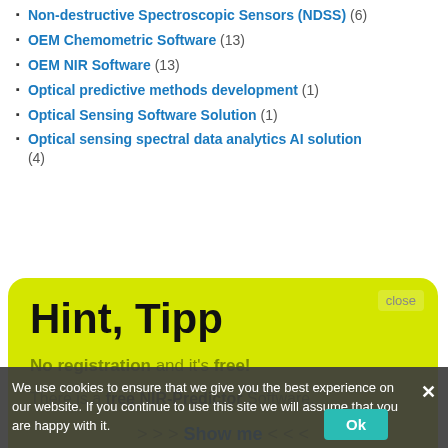Non-destructive Spectroscopic Sensors (NDSS) (6)
OEM Chemometric Software (13)
OEM NIR Software (13)
Optical predictive methods development (1)
Optical Sensing Software Solution (1)
Optical sensing spectral data analytics AI solution (4)
Hint, Tipp
No registration and it's free!
There is a free NIR-Predictor Software.
>>> Show me <<<
close
Outlier (12)
Patent NIR Application (3)
physical properties (14)
Prediction models
Prediction Models for Food analysis (15)
prediction models for NIR
Predictive Analysis Solution for Spectroscopy with
We use cookies to ensure that we give you the best experience on our website. If you continue to use this site we will assume that you are happy with it.
Ok